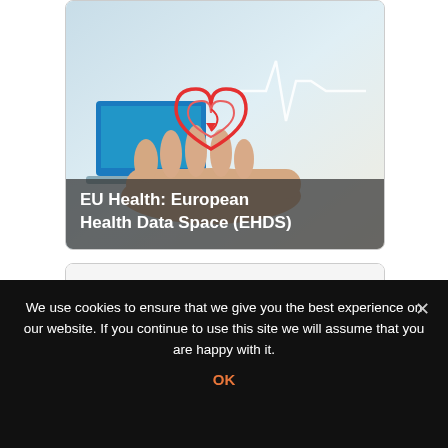[Figure (illustration): Photo of a hand holding a red heart with a heartbeat/ECG line, digital health concept image]
EU Health: European Health Data Space (EHDS)
[Figure (illustration): Word cloud image with SEO/innovation terms: SEARCH, STATISTICS, OPTIMIZATION, CALCULATION, DEVELOPMENT, KEYWORD, RESULTS, INFORMATION, POPULARITY, etc.]
New European Innovation
We use cookies to ensure that we give you the best experience on our website. If you continue to use this site we will assume that you are happy with it.
OK